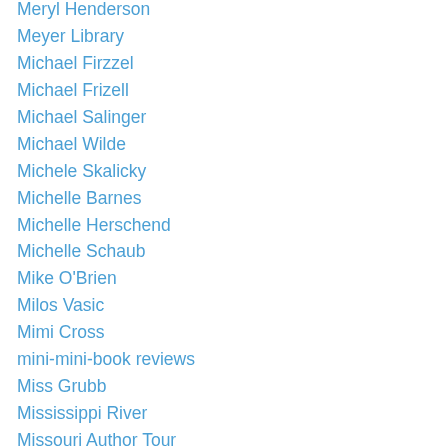Meryl Henderson
Meyer Library
Michael Firzzel
Michael Frizell
Michael Salinger
Michael Wilde
Michele Skalicky
Michelle Barnes
Michelle Herschend
Michelle Schaub
Mike O'Brien
Milos Vasic
Mimi Cross
mini-mini-book reviews
Miss Grubb
Mississippi River
Missouri Author Tour
Missouri Center for the Book
Missouri Early Learning Conference
Missouri Humanities Award